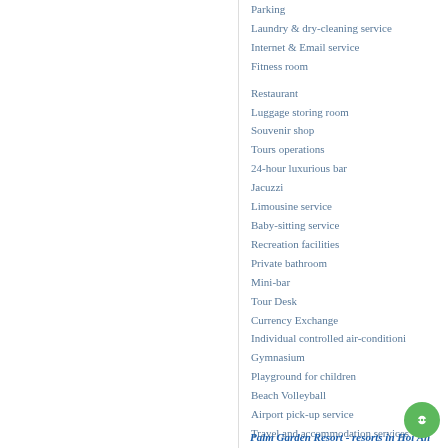Parking
Laundry & dry-cleaning service
Internet & Email service
Fitness room
Restaurant
Luggage storing room
Souvenir shop
Tours operations
24-hour luxurious bar
Jacuzzi
Limousine service
Baby-sitting service
Recreation facilities
Private bathroom
Mini-bar
Tour Desk
Currency Exchange
Individual controlled air-conditioning
Gymnasium
Playground for children
Beach Volleyball
Airport pick-up service
Travel and accommodation services
Palm Garden Resort - resorts in Hoi An